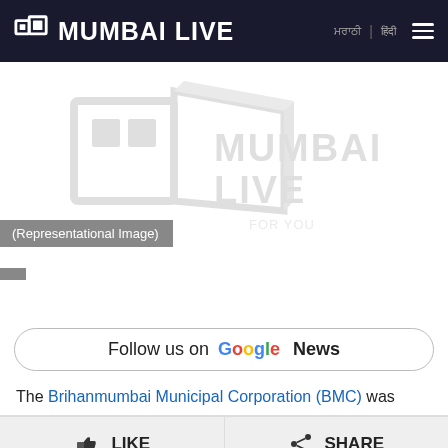MUMBAI LIVE
[Figure (logo): Mumbai Live logo watermark (grey) in center of white image area]
(Representational Image)
Follow us on Google News
The Brihanmumbai Municipal Corporation (BMC) was
LIKE   SHARE
×